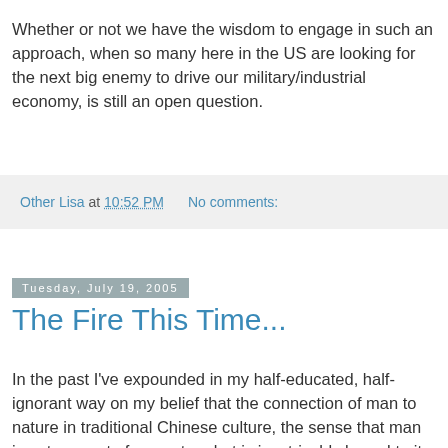Whether or not we have the wisdom to engage in such an approach, when so many here in the US are looking for the next big enemy to drive our military/industrial economy, is still an open question.
Other Lisa at 10:52 PM    No comments:
Tuesday, July 19, 2005
The Fire This Time...
In the past I've expounded in my half-educated, half-ignorant way on my belief that the connection of man to nature in traditional Chinese culture, the sense that man is not separate from nature but is inextricably bound to it, might be the foundation for a broad-based Chinese environmental movement, one that is sorely needed to repair the environmental devastation wrought by years of socialist "planning" (sorry, guys, but Communist countries in general have lousy track records in this area) and now unregulated